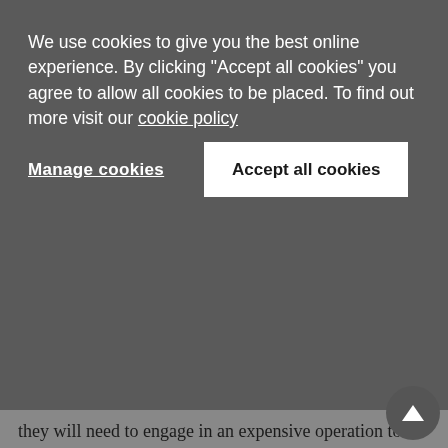We use cookies to give you the best online experience. By clicking "Accept all cookies" you agree to allow all cookies to be placed. To find out more visit our cookie policy
Manage cookies
Accept all cookies
they will need to engage in an expensive operation to reassess the value of what it is they bought. Failure to do so could open them up to various forms of legal action, from both regulatory authorities and shareholders.
In short, many patents that were valid when purchased and were assigned a “fair value” on that basis may no longer be valid. Public companies and the people who run them